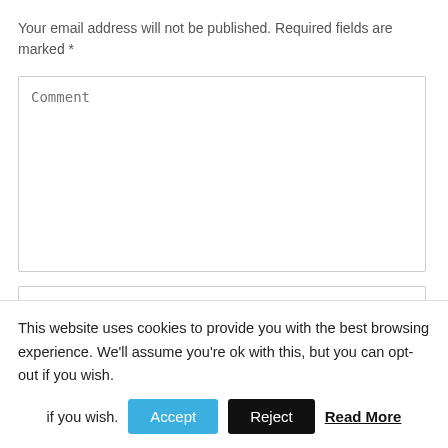Your email address will not be published. Required fields are marked *
[Figure (screenshot): Comment text area input field with placeholder text 'Comment']
[Figure (screenshot): Name input field with placeholder text 'Name*']
This website uses cookies to provide you with the best browsing experience. We'll assume you're ok with this, but you can opt-out if you wish.
Accept  Reject  Read More